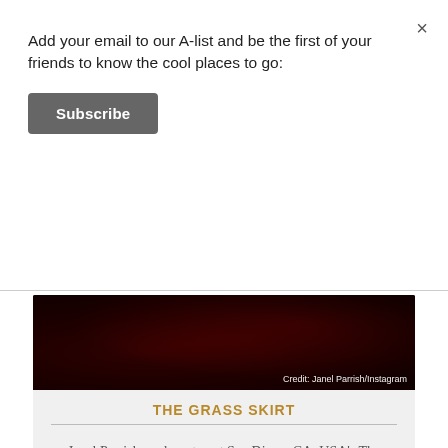Add your email to our A-list and be the first of your friends to know the cool places to go:
Subscribe
[Figure (photo): Dark red photo background with credit text reading 'Credit: Janel Parrish/Instagram']
THE GRASS SKIRT
Janel Parrish made a stop at San Diego, CA, USA's The Grass Skirt during her bachelorette party in August 2018.